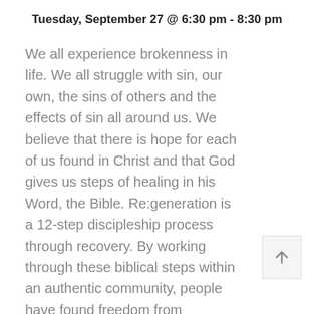Tuesday, September 27 @ 6:30 pm - 8:30 pm
We all experience brokenness in life. We all struggle with sin, our own, the sins of others and the effects of sin all around us. We believe that there is hope for each of us found in Christ and that God gives us steps of healing in his Word, the Bible. Re:generation is a 12-step discipleship process through recovery. By working through these biblical steps within an authentic community, people have found freedom from substance abuse, codependency, pornography, disordered eating, depression, fear, control, emotional/physical abuse, same-sex attraction, anger, obsessive thoughts, and